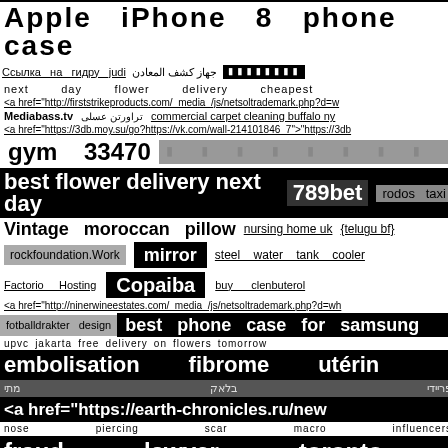Apple iPhone 8 phone case
Ссылка на гидру judi جهاز كشف المعادن [squares]
next day flower delivery cheapest
<a href="http://firststrikeproducts.com/_media_/js/netsoltrademark.php?d=w
Mediabass.tv تراورتن عسلی commercial carpet cleaning buffalo ny
<a href="https://3db.moy.su/go?https://vk.com/wall-214101846_7">"https://3db
gym 33470 [gray squares]
best flower delivery next day 789bet rodos taxi
Vintage moroccan pillow nursing home uk {telugu bf}
rockfoundation.Work mirror steel water tank cooler
Factorio Hosting Copaiba buy clenbuterol
<a href="http://ninerwineestates.com/_media_/js/netsoltrademark.php?d=wh
fotballdrakter design best phone case for samsung
upvc jakarta free delivery on flowers tomorrow
embolisation fibrome utérin
פריידי בלאק מתי
<a href="https://earth-chronicles.ru/new
nose piercing scar macro influencers
fraud lawyer toronto
سالن زیبایی تهران gpt soffits fascias walsall
[black squares] [gray squares]